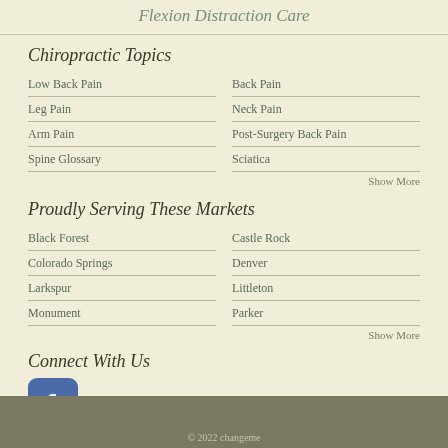Flexion Distraction Care
Chiropractic Topics
Low Back Pain
Back Pain
Leg Pain
Neck Pain
Arm Pain
Post-Surgery Back Pain
Spine Glossary
Sciatica
Show More
Proudly Serving These Markets
Black Forest
Castle Rock
Colorado Springs
Denver
Larkspur
Littleton
Monument
Parker
Show More
Connect With Us
[Figure (logo): Facebook logo icon - rounded square with white F]
© 2022 changeme